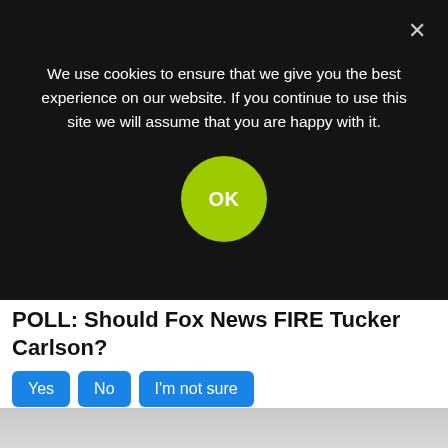We use cookies to ensure that we give you the best experience on our website. If you continue to use this site we will assume that you are happy with it.
[Figure (screenshot): OK button (green circle) and close X on cookie consent overlay]
POLL: Should Fox News FIRE Tucker Carlson?
Yes  No  I'm not sure
76,136 Votes
[Figure (photo): A bald eagle with wings spread wide in front of an American flag]